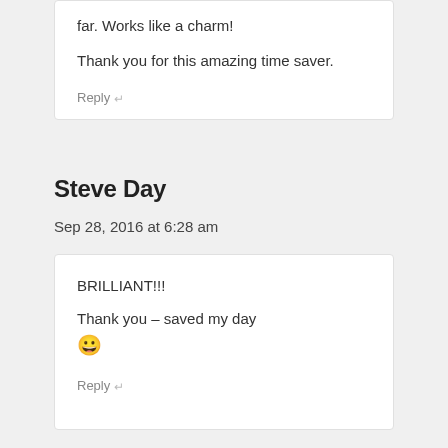far. Works like a charm!
Thank you for this amazing time saver.
Reply ↵
Steve Day
Sep 28, 2016 at 6:28 am
BRILLIANT!!!
Thank you – saved my day 😀
Reply ↵